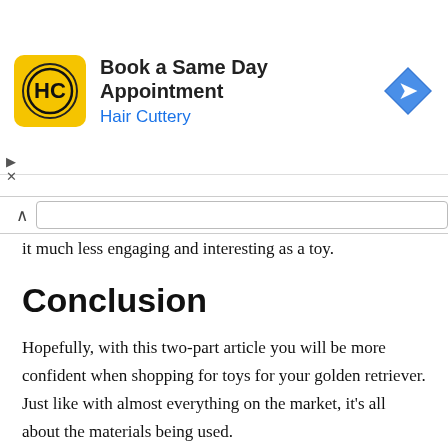[Figure (other): Hair Cuttery advertisement banner with logo and 'Book a Same Day Appointment' text]
it much less engaging and interesting as a toy.
Conclusion
Hopefully, with this two-part article you will be more confident when shopping for toys for your golden retriever. Just like with almost everything on the market, it's all about the materials being used.
I will be posting an article on top toys for